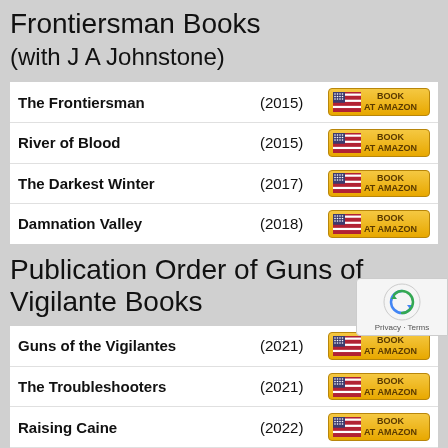Frontiersman Books
(with J A Johnstone)
| Title | Year | Buy |
| --- | --- | --- |
| The Frontiersman | (2015) | BOOK AT AMAZON |
| River of Blood | (2015) | BOOK AT AMAZON |
| The Darkest Winter | (2017) | BOOK AT AMAZON |
| Damnation Valley | (2018) | BOOK AT AMAZON |
Publication Order of Guns of Vigilante Books
| Title | Year | Buy |
| --- | --- | --- |
| Guns of the Vigilantes | (2021) | BOOK AT AMAZON |
| The Troubleshooters | (2021) | BOOK AT AMAZON |
| Raising Caine | (2022) | BOOK AT AMAZON |
Series available to buy only at williamjohnstonebooks.com store at Walmart.
Publication Order of Hank Fallon Books
(with J A Johnstone)